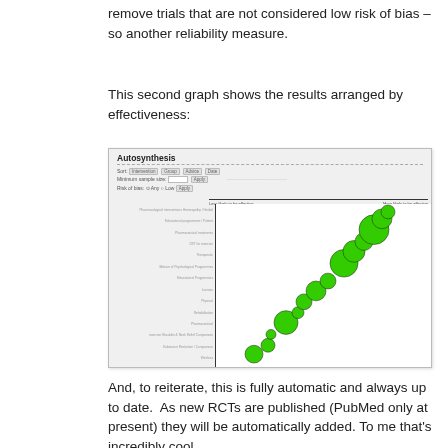remove trials that are not considered low risk of bias – so another reliability measure.
This second graph shows the results arranged by effectiveness:
[Figure (screenshot): Screenshot of Autosynthesis tool showing a bubble chart with green circles arranged diagonally from bottom-left to top-right, with axes labeled 'Less likely to be effective' and 'More likely to be effective'. Left side shows treatment labels. Controls include Sort, Minimum sample size, and Risk of bias filters.]
And, to reiterate, this is fully automatic and always up to date.  As new RCTs are published (PubMed only at present) they will be automatically added.  To me that's incredibly cool.